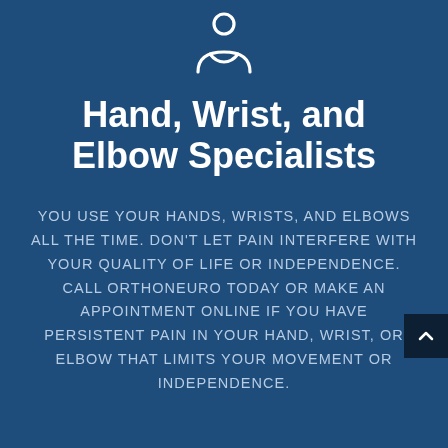[Figure (illustration): Person/user icon outline in white — circle for head above a rounded-rectangle torso shape]
Hand, Wrist, and Elbow Specialists
YOU USE YOUR HANDS, WRISTS, AND ELBOWS ALL THE TIME. DON'T LET PAIN INTERFERE WITH YOUR QUALITY OF LIFE OR INDEPENDENCE. CALL ORTHONEURO TODAY OR MAKE AN APPOINTMENT ONLINE IF YOU HAVE PERSISTENT PAIN IN YOUR HAND, WRIST, OR ELBOW THAT LIMITS YOUR MOVEMENT OR INDEPENDENCE.